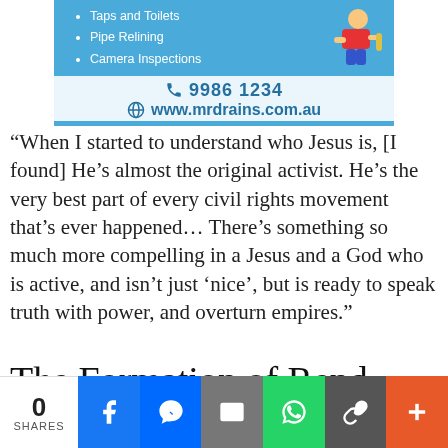[Figure (infographic): Mr Drains plumbing advertisement banner with blue background, bullet list of services (Taps and Toilets, Pipe Relining, Camera Inspections), plumber cartoon character, phone number 99986 1234, and website www.mrdrains.com.au]
“When I started to understand who Jesus is, [I found] He’s almost the original activist. He’s the very best part of every civil rights movement that’s ever happened… There’s something so much more compelling in a Jesus and a God who is active, and isn’t just ‘nice’, but is ready to speak truth with power, and overturn empires.”
The Formation of Rend
[Figure (infographic): Social share bar with 0 SHARES count, Facebook (blue), Messenger (blue), Email (grey), WhatsApp (green), Link (dark grey), and plus (orange) buttons]